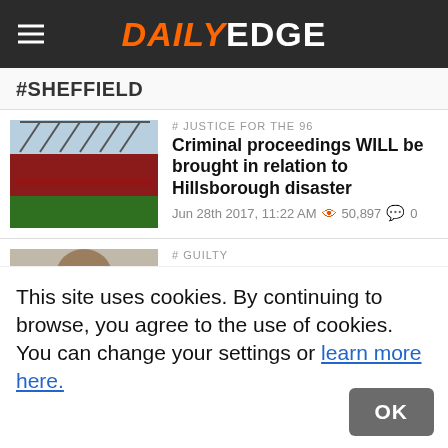DAILY EDGE
#SHEFFIELD
# JUSTICE FOR THE 96
Criminal proceedings WILL be brought in relation to Hillsborough disaster
Jun 28th 2017, 11:22 AM  50,897  0
# GUILTY
Child prostitution: Sheffield brothers who targeted vulnerable girls are jailed
This site uses cookies. By continuing to browse, you agree to the use of cookies. You can change your settings or learn more here.